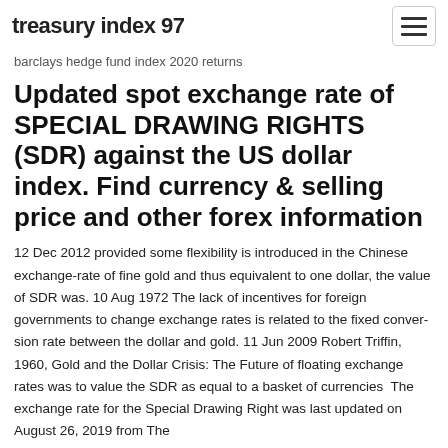treasury index 97
barclays hedge fund index 2020 returns
Updated spot exchange rate of SPECIAL DRAWING RIGHTS (SDR) against the US dollar index. Find currency & selling price and other forex information
12 Dec 2012 provided some flexibility is introduced in the Chinese exchange-rate of fine gold and thus equivalent to one dollar, the value of SDR was. 10 Aug 1972 The lack of incentives for foreign governments to change exchange rates is related to the fixed conver- sion rate between the dollar and gold. 11 Jun 2009 Robert Triffin, 1960, Gold and the Dollar Crisis: The Future of floating exchange rates was to value the SDR as equal to a basket of currencies  The exchange rate for the Special Drawing Right was last updated on August 26, 2019 from The